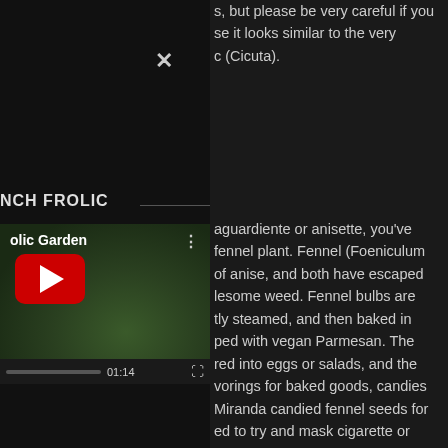×
s, but please be very careful if you se it looks similar to the very c (Cicuta).
NCH FROLIC
[Figure (screenshot): YouTube video thumbnail showing 'olic Garden' with a red play button overlay, garden background, and video controls showing 01:14 timestamp]
aguardiente or anisette, you've fennel plant. Fennel (Foeniculum of anise, and both have escaped lesome weed. Fennel bulbs are tly steamed, and then baked in ped with vegan Parmesan. The red into eggs or salads, and the vorings for baked goods, candies Miranda candied fennel seeds for ed to try and mask cigarette or y... who is kidding who? They do eshener chewed. The plants are tty umbels of flowers that native